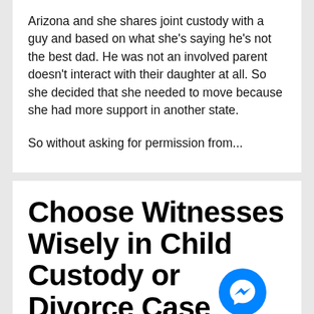Arizona and she shares joint custody with a guy and based on what she's saying he's not the best dad. He was not an involved parent doesn't interact with their daughter at all. So she decided that she needed to move because she had more support in another state.
So without asking for permission from...
Choose Witnesses Wisely in Child Custody or Divorce Case